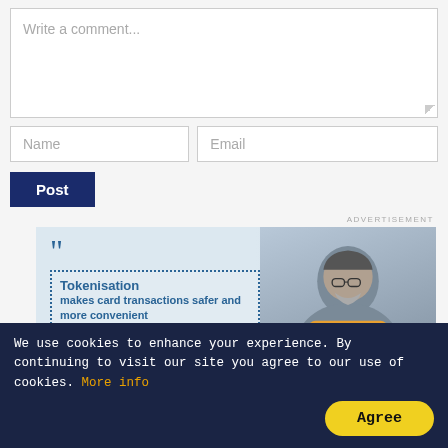[Figure (screenshot): Comment input text area with placeholder text 'Write a comment...']
[Figure (screenshot): Name and Email input fields side by side]
[Figure (screenshot): Post button in dark navy blue]
ADVERTISEMENT
[Figure (advertisement): Advertisement banner for tokenisation from a bank/RBI. Features quote marks, dotted border, text: 'Tokenisation makes card transactions safer and more convenient. A token is unique for your device/merchant, token requestor and card.' Shows a person image on right. Fairfax Medical Lab logo at bottom right.]
We use cookies to enhance your experience. By continuing to visit our site you agree to our use of cookies. More info